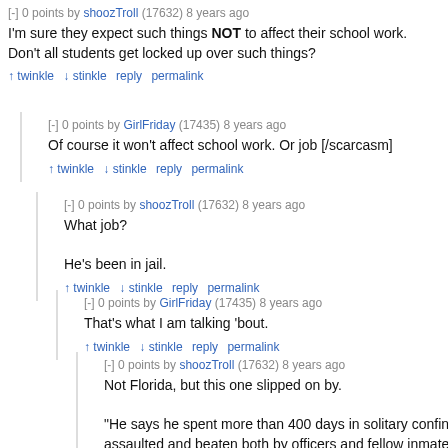[-] 0 points by shoozTroll (17632) 8 years ago
I'm sure they expect such things NOT to affect their school work. Don't all students get locked up over such things?
↑ twinkle  ↓ stinkle  reply  permalink
[-] 0 points by GirlFriday (17435) 8 years ago
Of course it won't affect school work. Or job [/scarcasm]
↑ twinkle  ↓ stinkle  reply  permalink
[-] 0 points by shoozTroll (17632) 8 years ago
What job?
He's been in jail.
↑ twinkle  ↓ stinkle  reply  permalink
[-] 0 points by GirlFriday (17435) 8 years ago
That's what I am talking 'bout.
↑ twinkle  ↓ stinkle  reply  permalink
[-] 0 points by shoozTroll (17632) 8 years ago
Not Florida, but this one slipped on by.
"He says he spent more than 400 days in solitary confinement and was assaulted and beaten both by officers and fellow inmates. Bro…
http://www.alternet.org/16-year-old-jailed-rikers-3-years-witho…
Bloomberg's legacy?
↑ twinkle  ↓ stinkle  reply  permalink